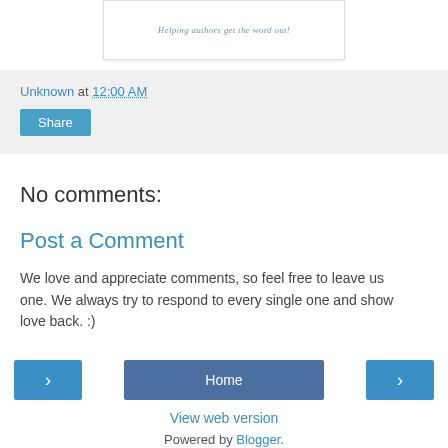[Figure (illustration): A white card with italic text reading 'Helping authors get the word out!']
Unknown at 12:00 AM
Share
No comments:
Post a Comment
We love and appreciate comments, so feel free to leave us one. We always try to respond to every single one and show love back. :)
< Home >
View web version
Powered by Blogger.